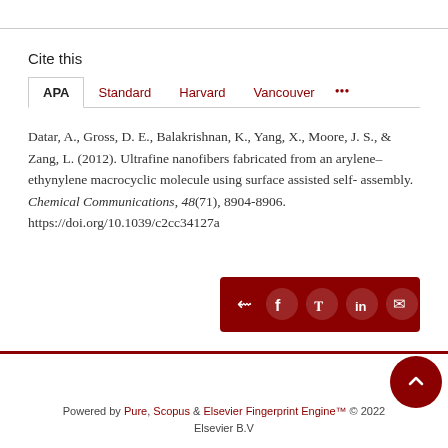Cite this
APA | Standard | Harvard | Vancouver | ...
Datar, A., Gross, D. E., Balakrishnan, K., Yang, X., Moore, J. S., & Zang, L. (2012). Ultrafine nanofibers fabricated from an arylene–ethynylene macrocyclic molecule using surface assisted self-assembly. Chemical Communications, 48(71), 8904-8906. https://doi.org/10.1039/c2cc34127a
Powered by Pure, Scopus & Elsevier Fingerprint Engine™ © 2022 Elsevier B.V